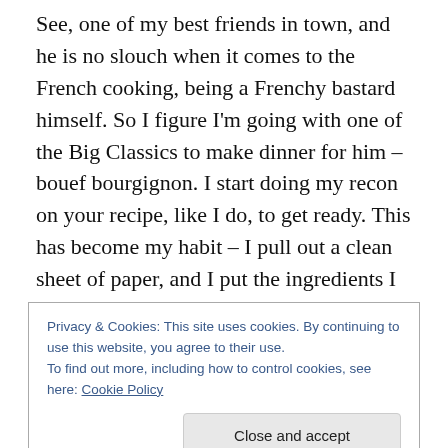See, one of my best friends in town, and he is no slouch when it comes to the French cooking, being a Frenchy bastard himself. So I figure I'm going with one of the Big Classics to make dinner for him – bouef bourgignon. I start doing my recon on your recipe, like I do, to get ready. This has become my habit – I pull out a clean sheet of paper, and I put the ingredients I don't have or think I might not have at the top. I double-check that list in the kitchen, then go shopping. My next step of planning is writing down all the steps and how long they take – then backwards planning that from the time I want to serve. This works
Privacy & Cookies: This site uses cookies. By continuing to use this website, you agree to their use.
To find out more, including how to control cookies, see here: Cookie Policy
[Close and accept]
enough, bacon and mushrooms are so integral to the